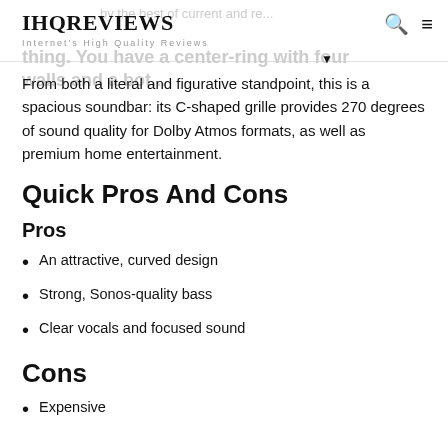IHQREVIEWS Internet's High Quality Reviews
From both a literal and figurative standpoint, this is a spacious soundbar: its C-shaped grille provides 270 degrees of sound quality for Dolby Atmos formats, as well as premium home entertainment.
Quick Pros And Cons
Pros
An attractive, curved design
Strong, Sonos-quality bass
Clear vocals and focused sound
Cons
Expensive